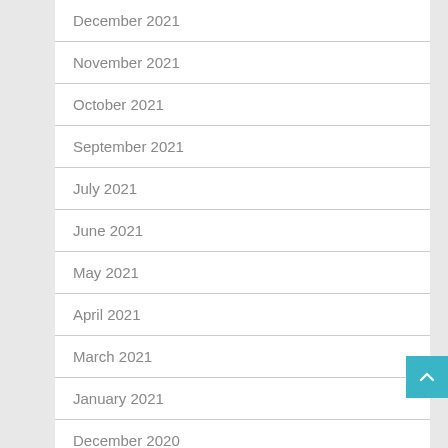December 2021
November 2021
October 2021
September 2021
July 2021
June 2021
May 2021
April 2021
March 2021
January 2021
December 2020